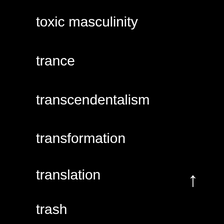toxic masculinity
trance
transcendentalism
transformation
translation
trash
trauma
travel
Tree of Life
trees
tribalism